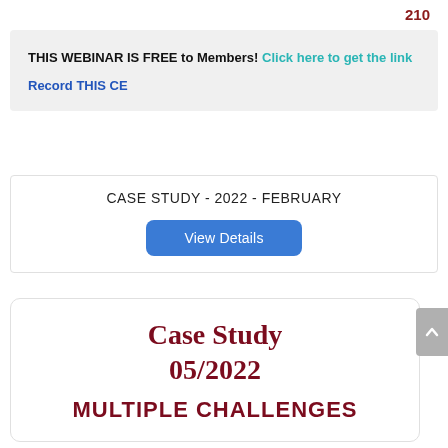210
THIS WEBINAR IS FREE to Members! Click here to get the link
Record THIS CE
CASE STUDY - 2022 - FEBRUARY
View Details
Case Study 05/2022
MULTIPLE CHALLENGES